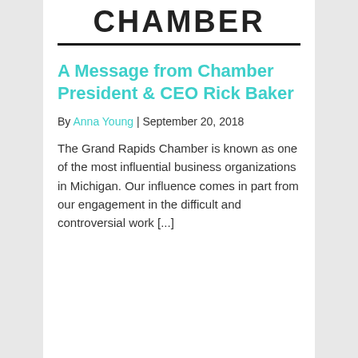CHAMBER
A Message from Chamber President & CEO Rick Baker
By Anna Young | September 20, 2018
The Grand Rapids Chamber is known as one of the most influential business organizations in Michigan. Our influence comes in part from our engagement in the difficult and controversial work [...]